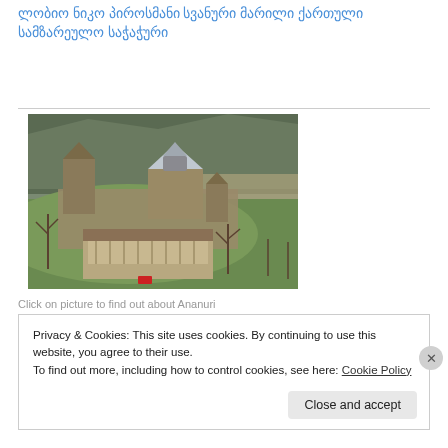ლობიო ნიკო პიროსმანი სვანური მარილი ქართული სამზარეულო საჭაჭური
[Figure (photo): Aerial view of Ananuri fortress complex with medieval stone towers and church with conical roof, situated on a hillside above a river, with bare trees and greenery around. A traditional house visible in the foreground.]
Click on picture to find out about Ananuri
Privacy & Cookies: This site uses cookies. By continuing to use this website, you agree to their use.
To find out more, including how to control cookies, see here: Cookie Policy